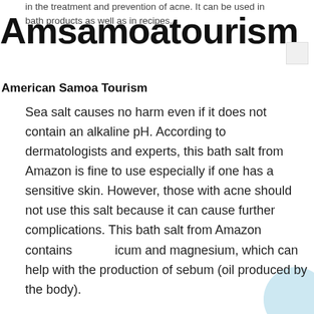in the treatment and prevention of acne. It can be used in bath products as well as in recipes.
Amsamoatourism
American Samoa Tourism
Sea salt causes no harm even if it does not contain an alkaline pH. According to dermatologists and experts, this bath salt from Amazon is fine to use especially if one has a sensitive skin. However, those with acne should not use this salt because it can cause further complications. This bath salt from Amazon contains calcium and magnesium, which can help with the production of sebum (oil produced by the body). The good thing about this sea salt from Amazon is that it contains sodium as an ingredient. Sodium bicarbonate is an antiseptic and an astringent which makes it especially true for those with acne. This salt is rich in calcium and magnesium, which can help with the production of sebum. However, it should be used with